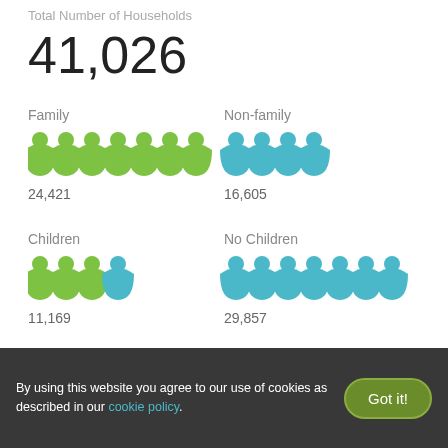Total Number of Households
41,026
[Figure (infographic): Two groups of person icons: Family (green, 7 icons) labeled 24,421 and Non-family (blue, 4 icons) labeled 16,605]
[Figure (infographic): Two groups of person icons: Children (green 3 + blue 1, 4 icons) labeled 11,169 and No Children (blue, 7 icons) labeled 29,857]
By using this website you agree to our use of cookies as described in our cookie policy.